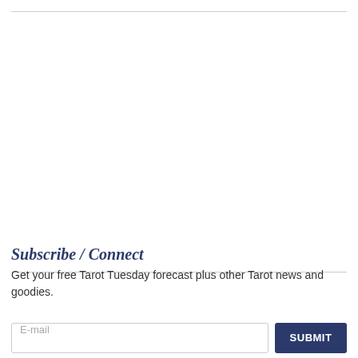Subscribe / Connect
Get your free Tarot Tuesday forecast plus other Tarot news and goodies.